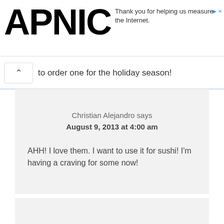APNIC
Thank you for helping us measure the Internet.
to order one for the holiday season!
Christian Alejandro says
August 9, 2013 at 4:00 am

AHH! I love them. I want to use it for sushi! I'm having a craving for some now!